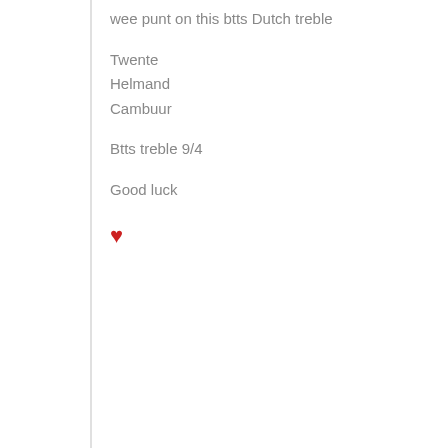wee punt on this btts Dutch treble

Twente
Helmand
Cambuur

Btts treble 9/4

Good luck

❤
[Figure (logo): Circular avatar with football club crest (blue and white shield with floral decoration)]
HullShaker
4 years ago
Morning gents,
Not sure how many folk have been on the